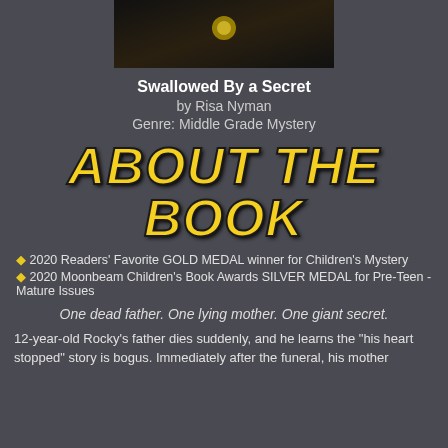[Figure (photo): Book cover image for Swallowed By a Secret, dark background with a glowing yellow orb]
Swallowed By a Secret
by Risa Nyman
Genre: Middle Grade Mystery
ABOUT THE BOOK
2020 Readers' Favorite GOLD MEDAL winner for Children's Mystery
2020 Moonbeam Children's Book Awards SILVER MEDAL for Pre-Teen - Mature Issues
One dead father. One lying mother. One giant secret.
12-year-old Rocky's father dies suddenly, and he learns the "his heart stopped" story is bogus. Immediately after the funeral, his mother